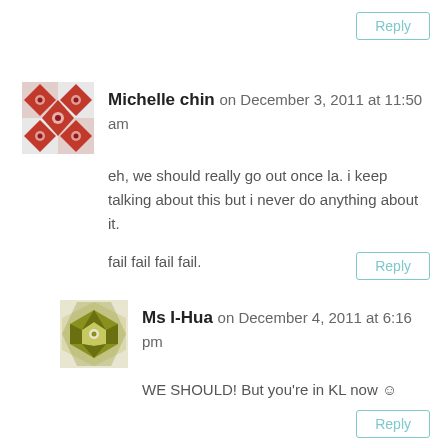Reply
Michelle chin on December 3, 2011 at 11:50 am
eh, we should really go out once la. i keep talking about this but i never do anything about it.

fail fail fail fail.
Reply
Ms I-Hua on December 4, 2011 at 6:16 pm
WE SHOULD! But you're in KL now ☺
Reply